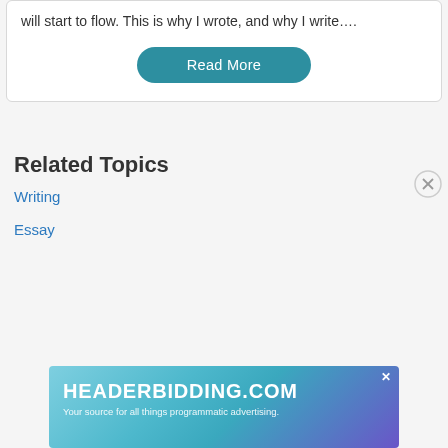will start to flow. This is why I wrote, and why I write….
Read More
Related Topics
Writing
Essay
[Figure (screenshot): Advertisement banner for headerbidding.com — 'Your source for all things programmatic advertising.']